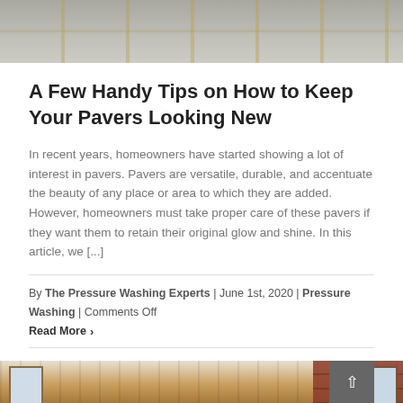[Figure (photo): Top portion of a paved concrete/stone surface with grid lines visible, gray tones]
A Few Handy Tips on How to Keep Your Pavers Looking New
In recent years, homeowners have started showing a lot of interest in pavers. Pavers are versatile, durable, and accentuate the beauty of any place or area to which they are added. However, homeowners must take proper care of these pavers if they want them to retain their original glow and shine. In this article, we [...]
By The Pressure Washing Experts | June 1st, 2020 | Pressure Washing | Comments Off
Read More ›
[Figure (photo): Wooden deck with railing and stairs, brick wall in background, residential exterior photo]